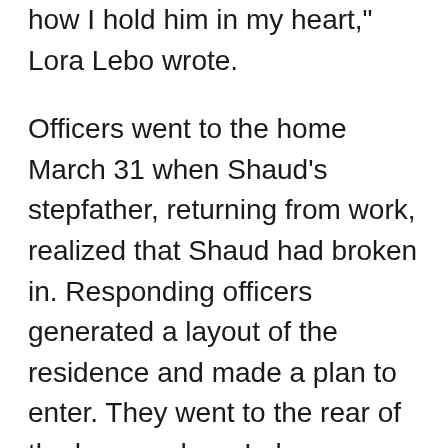how I hold him in my heart," Lora Lebo wrote.
Officers went to the home March 31 when Shaud's stepfather, returning from work, realized that Shaud had broken in. Responding officers generated a layout of the residence and made a plan to enter. They went to the rear of the home, where Lebo — leading the way with a shield and his weapon drawn — called out to Shaud and asked him to meet with police at the back door, Graf said.
Shaud approached and refused Lebo's order to show his hands, instead drawing a handgun and firing three rounds at close range, Graf said. Lebo and a second officer, Derek Underkoffler, were hit, unable to return fire, she said.
Shaud exchanged fire with other officers, striking